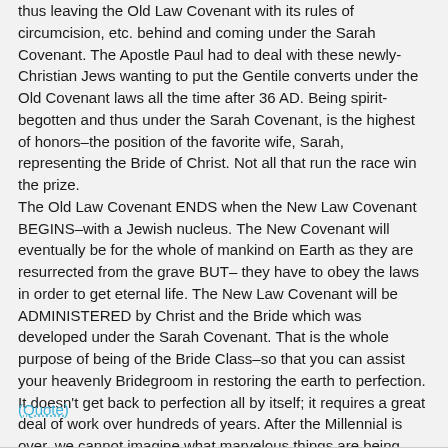thus leaving the Old Law Covenant with its rules of circumcision, etc. behind and coming under the Sarah Covenant. The Apostle Paul had to deal with these newly-Christian Jews wanting to put the Gentile converts under the Old Covenant laws all the time after 36 AD. Being spirit-begotten and thus under the Sarah Covenant, is the highest of honors–the position of the favorite wife, Sarah, representing the Bride of Christ. Not all that run the race win the prize. The Old Law Covenant ENDS when the New Law Covenant BEGINS–with a Jewish nucleus. The New Covenant will eventually be for the whole of mankind on Earth as they are resurrected from the grave BUT– they have to obey the laws in order to get eternal life. The New Law Covenant will be ADMINISTERED by Christ and the Bride which was developed under the Sarah Covenant. That is the whole purpose of being of the Bride Class–so that you can assist your heavenly Bridegroom in restoring the earth to perfection. It doesn't get back to perfection all by itself; it requires a great deal of work over hundreds of years. After the Millennial is over, we cannot imagine what marvelous things are being prepared for the Bride's future work with her HEAD, Jesus.
(Quote)